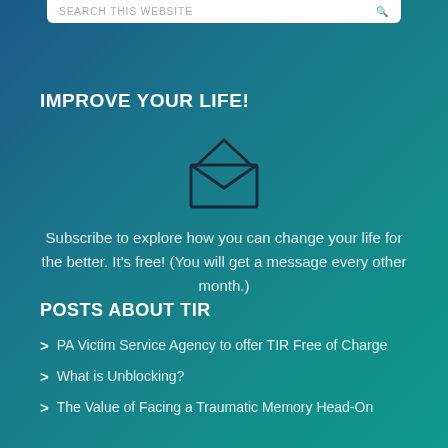SEARCH THIS WEBSITE
IMPROVE YOUR LIFE!
[Figure (illustration): Open envelope icon, outline style, dark color on gradient background]
Subscribe to explore how you can change your life for the better. It's free! (You will get a message every other month.)
POSTS ABOUT TIR
PA Victim Service Agency to offer TIR Free of Charge
What is Unblocking?
The Value of Facing a Traumatic Memory Head-On